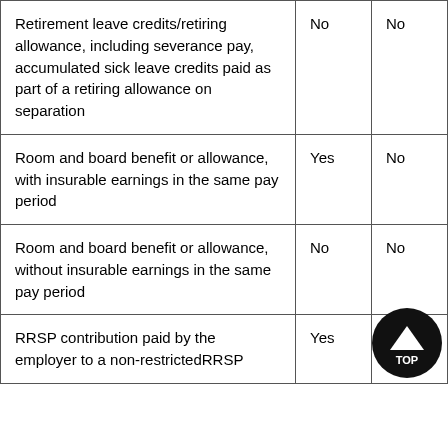| Retirement leave credits/retiring allowance, including severance pay, accumulated sick leave credits paid as part of a retiring allowance on separation | No | No |
| Room and board benefit or allowance, with insurable earnings in the same pay period | Yes | No |
| Room and board benefit or allowance, without insurable earnings in the same pay period | No | No |
| RRSP contribution paid by the employer to a non-restrictedRRSP | Yes | No |